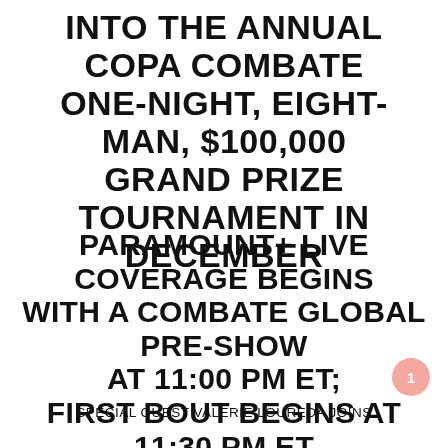INTO THE ANNUAL COPA COMBATE ONE-NIGHT, EIGHT-MAN, $100,000 GRAND PRIZE TOURNAMENT IN DECEMBER
PARAMOUNT+ LIVE COVERAGE BEGINS WITH A COMBATE GLOBAL PRE-SHOW AT 11:00 PM ET; FIRST BOUT BEGINS AT 11:30 PM ET
SPECIAL GUEST VALERIE LOUREDA JOINS